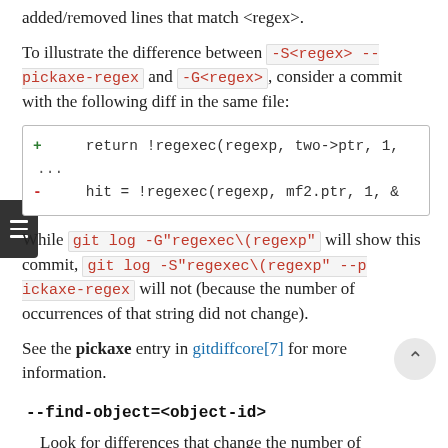added/removed lines that match <regex>.
To illustrate the difference between -S<regex> --pickaxe-regex and -G<regex>, consider a commit with the following diff in the same file:
[Figure (other): Code diff block showing two lines: '+ return !regexec(regexp, two->ptr, 1,' and '- hit = !regexec(regexp, mf2.ptr, 1, &' with '...' between them.]
While git log -G"regexec\(regexp" will show this commit, git log -S"regexec\(regexp" --pickaxe-regex will not (because the number of occurrences of that string did not change).
See the pickaxe entry in gitdiffcore[7] for more information.
--find-object=<object-id>
Look for differences that change the number of occurrences of the specified object. Similar to -S, just the argument is different in that it doesn't